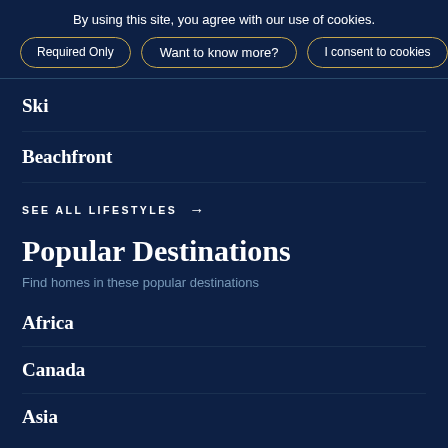By using this site, you agree with our use of cookies.
Required Only
Want to know more?
I consent to cookies
Ski
Beachfront
SEE ALL LIFESTYLES →
Popular Destinations
Find homes in these popular destinations
Africa
Canada
Asia